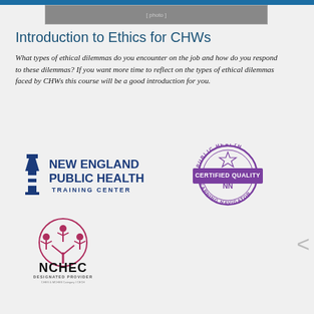[Figure (photo): Top image strip showing people, partially cropped]
Introduction to Ethics for CHWs
What types of ethical dilemmas do you encounter on the job and how do you respond to these dilemmas? If you want more time to reflect on the types of ethical dilemmas faced by CHWs this course will be a good introduction for you.
[Figure (logo): New England Public Health Training Center logo with lighthouse icon]
[Figure (logo): Public Health Certified Quality Learning Navigator circular badge]
[Figure (logo): NCHEC Designated Provider logo with tree/people icon]